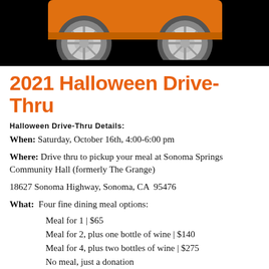[Figure (photo): Top portion of an orange car with black background, showing wheels and undercarriage area]
2021 Halloween Drive-Thru
Halloween Drive-Thru Details:
When: Saturday, October 16th, 4:00-6:00 pm
Where: Drive thru to pickup your meal at Sonoma Springs Community Hall (formerly The Grange)
18627 Sonoma Highway, Sonoma, CA  95476
What:  Four fine dining meal options:
Meal for 1 | $65
Meal for 2, plus one bottle of wine | $140
Meal for 4, plus two bottles of wine | $275
No meal, just a donation